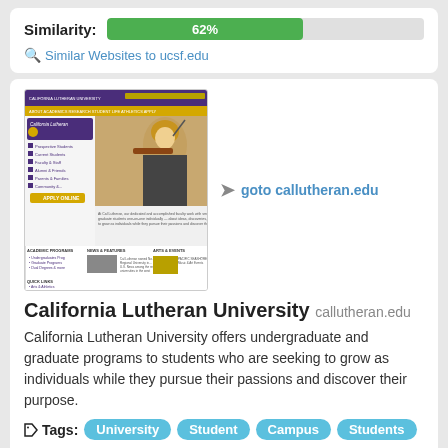Similarity: 62%
Similar Websites to ucsf.edu
[Figure (screenshot): Screenshot of California Lutheran University website (callutheran.edu) showing university homepage with navigation, student playing violin, academic programs, news & features, and arts & events sections.]
goto callutheran.edu
California Lutheran University callutheran.edu
California Lutheran University offers undergraduate and graduate programs to students who are seeking to grow as individuals while they pursue their passions and discover their purpose.
Tags: University Student Campus Students
Similarity: 59%